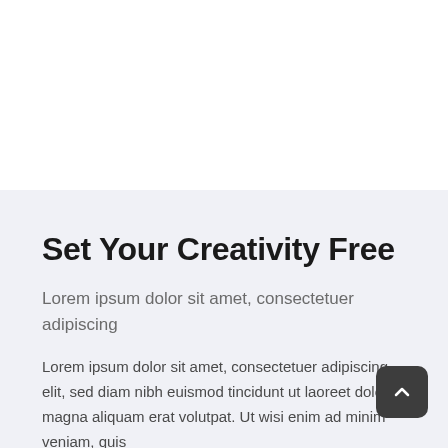Set Your Creativity Free
Lorem ipsum dolor sit amet, consectetuer adipiscing
Lorem ipsum dolor sit amet, consectetuer adipiscing elit, sed diam nibh euismod tincidunt ut laoreet dolore magna aliquam erat volutpat. Ut wisi enim ad minim veniam, quis